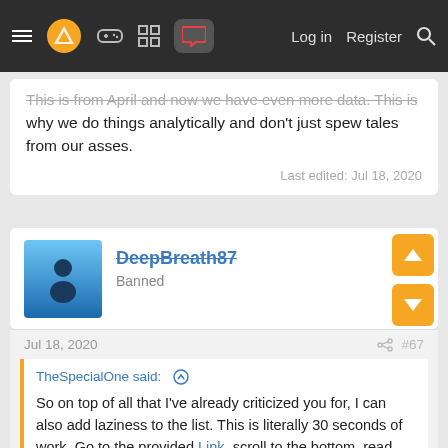Navigation bar with menu, logo, icons, Log in, Register, Search
This is from April and now we have even more data. This is why we do things analytically and don't just spew tales from our asses.
Last edited: Jul 18, 2020
DeepBreath87
Banned
Jul 18, 2020  #67
TheSpecialOne said: ↑

So on top of all that I've already criticized you for, I can also add laziness to the list. This is literally 30 seconds of work. Go to the provided Link, scroll to the bottom, read the cited references and studies. Here, is the conclusion for you if that's too hard:

This is from April and now we have even more data. This is why we do things analytically and don't just spew tales from our asses